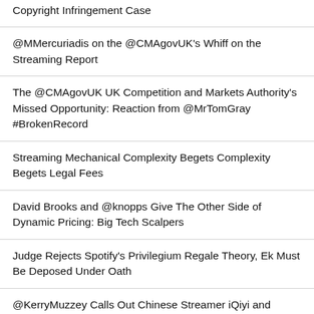Copyright Infringement Case
@MMercuriadis on the @CMAgovUK's Whiff on the Streaming Report
The @CMAgovUK UK Competition and Markets Authority's Missed Opportunity: Reaction from @MrTomGray #BrokenRecord
Streaming Mechanical Complexity Begets Complexity Begets Legal Fees
David Brooks and @knopps Give The Other Side of Dynamic Pricing: Big Tech Scalpers
Judge Rejects Spotify's Privilegium Regale Theory, Ek Must Be Deposed Under Oath
@KerryMuzzey Calls Out Chinese Streamer iQiyi and Tencent for Massive Infringement of